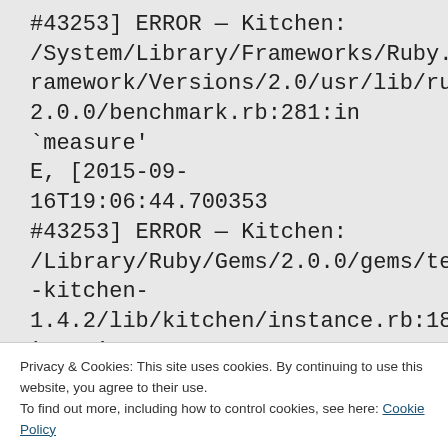#43253] ERROR — Kitchen: /System/Library/Frameworks/Ruby.framework/Versions/2.0/usr/lib/ruby/2.0.0/benchmark.rb:281:in `measure'
E, [2015-09-16T19:06:44.700353 #43253] ERROR — Kitchen: /Library/Ruby/Gems/2.0.0/gems/test-kitchen-1.4.2/lib/kitchen/instance.rb:185:in `test'
Privacy & Cookies: This site uses cookies. By continuing to use this website, you agree to their use.
To find out more, including how to control cookies, see here: Cookie Policy
Close and accept
1.4.2/lib/kitchen/command.rb:176:in